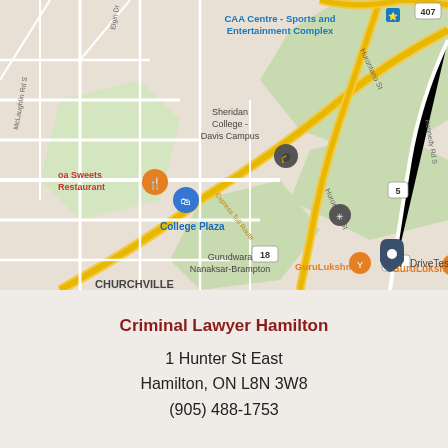[Figure (map): Google Maps screenshot showing Brampton area near Sheridan College Davis Campus, College Plaza, Gurudwara Nanaksar-Brampton, Churchville, CAA Centre Sports and Entertainment Complex, GuruLukshmi restaurant, DriveTest location, routes including Hurontario St, Express Toll Route, Highway 407, Kennedy Rd S, and Highway 5.]
Criminal Lawyer Hamilton
1 Hunter St East
Hamilton, ON L8N 3W8
(905) 488-1753